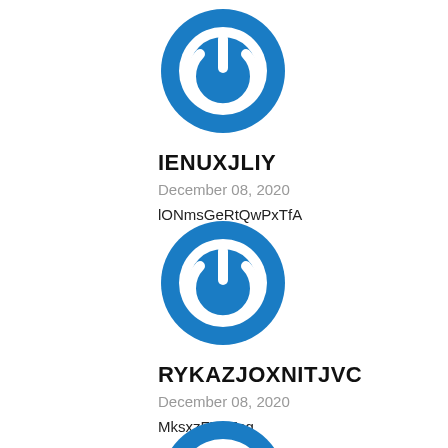[Figure (logo): Blue circular power button icon with white power symbol]
IENUXJLIY
December 08, 2020
lONmsGeRtQwPxTfA
[Figure (logo): Blue circular power button icon with white power symbol]
RYKAZJOXNITJVC
December 08, 2020
MksxzFYNJcg
[Figure (logo): Blue circular power button icon with white power symbol (partially visible)]